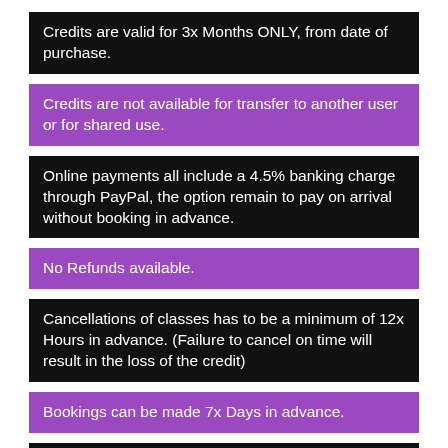Credits are valid for 3x Months ONLY, from date of purchase.
Credits are not available for transfer to another user or for shared use.
Online payments all include a 4.5% banking charge through PayPal, the option remain to pay on arrival without booking in advance.
No Refunds available.
Cancellations of classes has to be a minimum of 12x Hours in advance. (Failure to cancel on time will result in the loss of the credit)
Bookings can be made 7x Days in advance.
Clients must wear suitable clothing & shoes and have